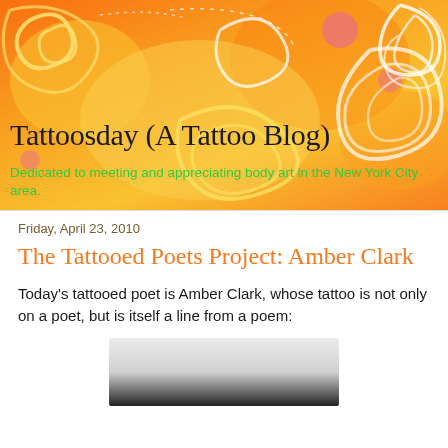[Figure (illustration): Orange decorative blog header banner with swirling floral/spiral patterns in yellow, white, pink on an orange gradient background]
Tattoosday (A Tattoo Blog)
Dedicated to meeting and appreciating body art in the New York City area.
Friday, April 23, 2010
The Tattooed Poets Project: Amber Clark
Today's tattooed poet is Amber Clark, whose tattoo is not only on a poet, but is itself a line from a poem:
[Figure (photo): Partial black and white photo showing what appears to be a light-colored surface, bottom portion cut off]